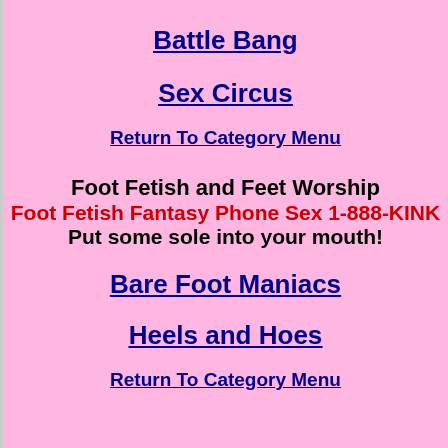Battle Bang
Sex Circus
Return To Category Menu
Foot Fetish and Feet Worship
Foot Fetish Fantasy Phone Sex 1-888-KINK
Put some sole into your mouth!
Bare Foot Maniacs
Heels and Hoes
Return To Category Menu